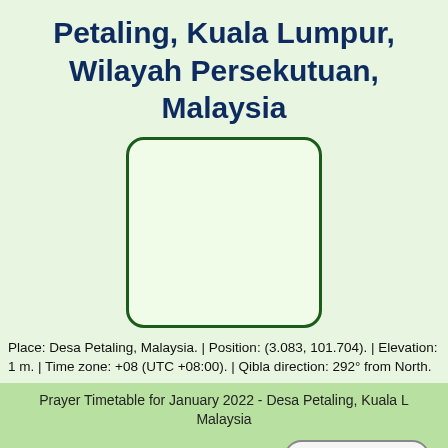Petaling, Kuala Lumpur, Wilayah Persekutuan, Malaysia
[Figure (map): Rounded rectangle placeholder box representing a map area for Desa Petaling, Malaysia]
Place: Desa Petaling, Malaysia. | Position: (3.083, 101.704). | Elevation: 1 m. | Time zone: +08 (UTC +08:00). | Qibla direction: 292° from North.
Prayer Timetable for January 2022 - Desa Petaling, Kuala L Malaysia
Download PDF
| Date | Day | Fajr | Shuruq | Dhuha | Dhuhr | ... |
| --- | --- | --- | --- | --- | --- | --- |